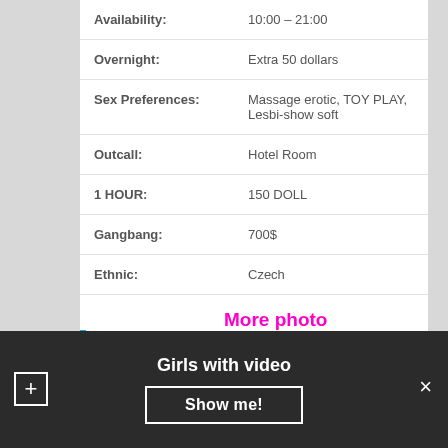| Field | Value |
| --- | --- |
| Availability: | 10:00 – 21:00 |
| Overnight: | Extra 50 dollars |
| Sex Preferences: | Massage erotic, TOY PLAY, Lesbi-show soft |
| Outcall: | Hotel Room |
| 1 HOUR: | 150 DOLL |
| Gangbang: | 700$ |
| Ethnic: | Czech |
More photo
For those of you who have never met me
Girls with video
Show me!